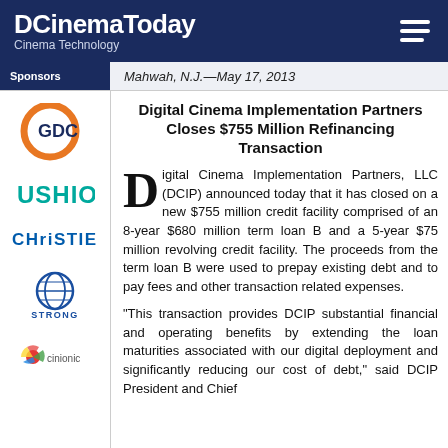DCinemaToday — Cinema Technology
Mahwah, N.J.—May 17, 2013
Digital Cinema Implementation Partners Closes $755 Million Refinancing Transaction
Digital Cinema Implementation Partners, LLC (DCIP) announced today that it has closed on a new $755 million credit facility comprised of an 8-year $680 million term loan B and a 5-year $75 million revolving credit facility. The proceeds from the term loan B were used to prepay existing debt and to pay fees and other transaction related expenses.
“This transaction provides DCIP substantial financial and operating benefits by extending the loan maturities associated with our digital deployment and significantly reducing our cost of debt,” said DCIP President and Chief
[Figure (logo): GDC logo - orange circular logo with GDC text]
[Figure (logo): USHIO logo - teal/green text logo]
[Figure (logo): Christie logo - blue stylized text logo]
[Figure (logo): Strong logo - blue globe/grid logo with STRONG text]
[Figure (logo): Cinionic logo - colorful pinwheel logo with cinionic text]